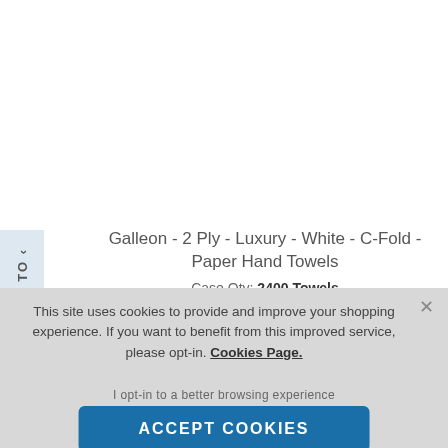Galleon - 2 Ply - Luxury - White - C-Fold - Paper Hand Towels
Case Qty: 2400 Towels
This site uses cookies to provide and improve your shopping experience. If you want to benefit from this improved service, please opt-in. Cookies Page.
I opt-in to a better browsing experience
ACCEPT COOKIES